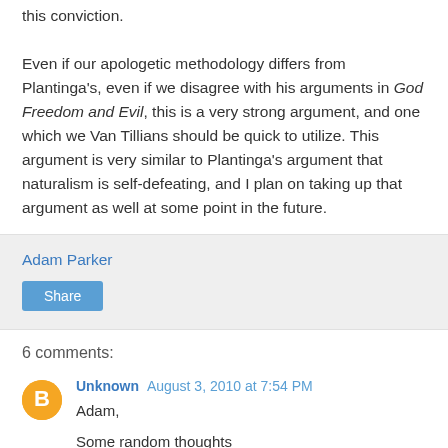this conviction. Even if our apologetic methodology differs from Plantinga's, even if we disagree with his arguments in God Freedom and Evil, this is a very strong argument, and one which we Van Tillians should be quick to utilize. This argument is very similar to Plantinga's argument that naturalism is self-defeating, and I plan on taking up that argument as well at some point in the future.
Adam Parker
Share
6 comments:
Unknown August 3, 2010 at 7:54 PM
Adam,

Some random thoughts